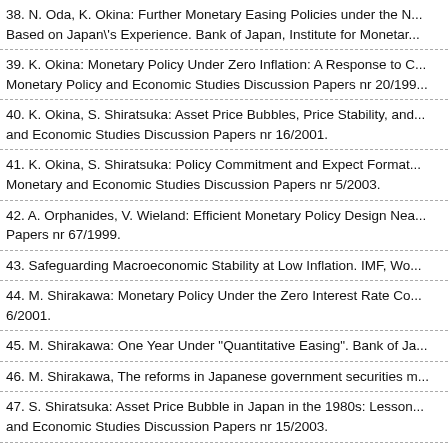38. N. Oda, K. Okina: Further Monetary Easing Policies under the N... Based on Japan's Experience. Bank of Japan, Institute for Monetar...
39. K. Okina: Monetary Policy Under Zero Inflation: A Response to C... Monetary Policy and Economic Studies Discussion Papers nr 20/199...
40. K. Okina, S. Shiratsuka: Asset Price Bubbles, Price Stability, and... and Economic Studies Discussion Papers nr 16/2001.
41. K. Okina, S. Shiratsuka: Policy Commitment and Expect Format... Monetary and Economic Studies Discussion Papers nr 5/2003.
42. A. Orphanides, V. Wieland: Efficient Monetary Policy Design Nea... Papers nr 67/1999.
43. Safeguarding Macroeconomic Stability at Low Inflation. IMF, Wo...
44. M. Shirakawa: Monetary Policy Under the Zero Interest Rate Co... 6/2001.
45. M. Shirakawa: One Year Under "Quantitative Easing". Bank of Ja...
46. M. Shirakawa, The reforms in Japanese government securities m...
47. S. Shiratsuka: Asset Price Bubble in Japan in the 1980s: Lesson... and Economic Studies Discussion Papers nr 15/2003.
48. J. K. Solarz: Stabilność systemów finansowych a deflacja. "Bezp...
49. P. Sotomska-Krzysztofik: Japoński system bankowy wobec krzy...
50. M. Suda: The Effect of "Quantitative Monetary Easing" When the... www.boj.or.jp/en/ronbun/ko0304a.pdf.
51. L. E. O. Svensson: Monetary Policy and Real Stabilization. W: R... of Kansas City, Jackson Hole, Wyoming 2002.